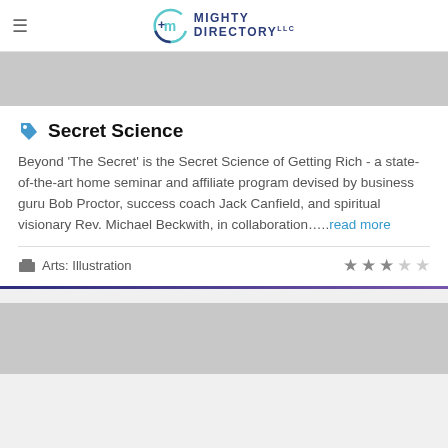Mighty Directory LLC
[Figure (other): Gray advertisement banner placeholder, top]
Secret Science
Beyond 'The Secret' is the Secret Science of Getting Rich - a state-of-the-art home seminar and affiliate program devised by business guru Bob Proctor, success coach Jack Canfield, and spiritual visionary Rev. Michael Beckwith, in collaboration.….read more
Arts: Illustration
[Figure (other): Gray advertisement banner placeholder, bottom]